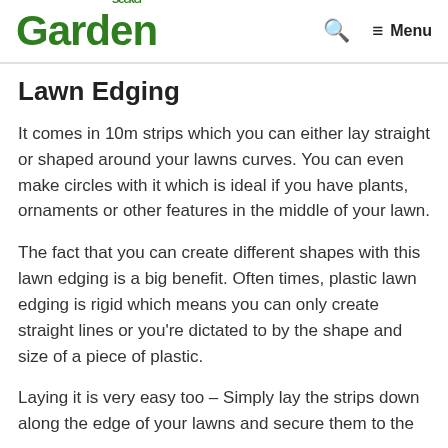GardenSeeker — Menu
Lawn Edging
It comes in 10m strips which you can either lay straight or shaped around your lawns curves. You can even make circles with it which is ideal if you have plants, ornaments or other features in the middle of your lawn.
The fact that you can create different shapes with this lawn edging is a big benefit. Often times, plastic lawn edging is rigid which means you can only create straight lines or you're dictated to by the shape and size of a piece of plastic.
Laying it is very easy too – Simply lay the strips down along the edge of your lawns and secure them to the